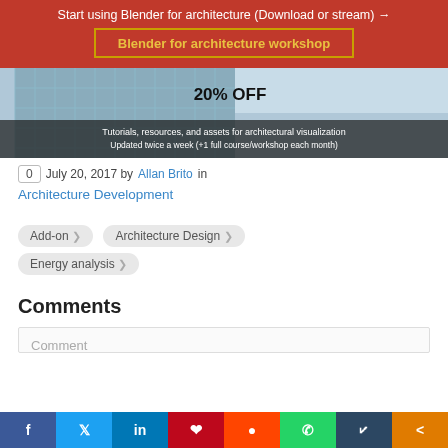Start using Blender for architecture (Download or stream) →
Blender for architecture workshop
[Figure (photo): Workshop promotional banner showing architectural glass facade with text '20% OFF' and 'Tutorials, resources, and assets for architectural visualization. Updated twice a week (+1 full course/workshop each month)']
0  July 20, 2017 by Allan Brito in
Architecture Development
Add-on
Architecture Design
Energy analysis
Comments
Comment
f  t  in  p  r  w  bookmark  share